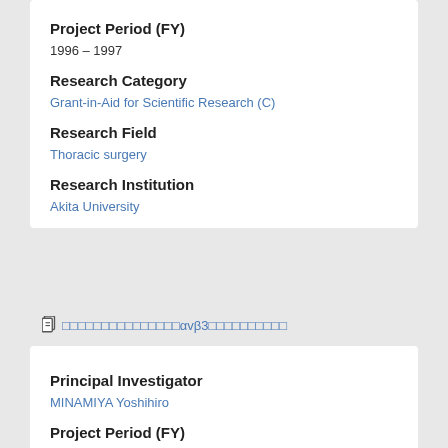Project Period (FY)
1996 – 1997
Research Category
Grant-in-Aid for Scientific Research (C)
Research Field
Thoracic surgery
Research Institution
Akita University
□□□□□□□□□□□□□□□αvβ3□□□□□□□□□□
Principal Investigator
MINAMIYA Yoshihiro
Project Period (FY)
1995